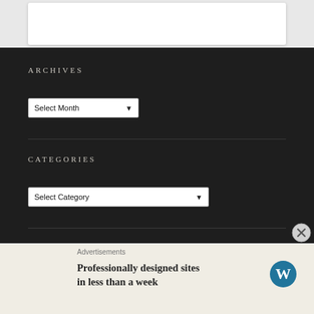[Figure (screenshot): Top grey area with white card element]
ARCHIVES
[Figure (screenshot): Select Month dropdown widget]
CATEGORIES
[Figure (screenshot): Select Category dropdown widget]
BLOG STATS
Advertisements
Professionally designed sites in less than a week